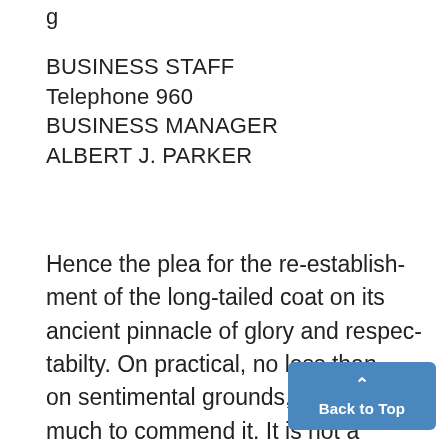g
BUSINESS STAFF
Telephone 960
BUSINESS MANAGER
ALBERT J. PARKER
Hence the plea for the re-establish-ment of the long-tailed coat on its ancient pinnacle of glory and respec-tabilty. On practical, no less than on sentimental grounds, the plan has much to commend it. It is not a that the swallow-tail has a long
[Figure (other): Back to Top button with upward chevron arrow, blue rounded rectangle button]